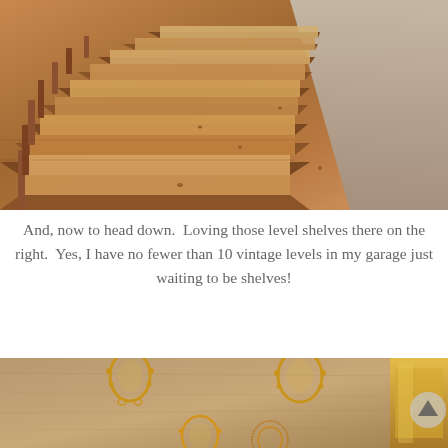[Figure (photo): Overhead view looking down a wooden staircase with natural wood steps and vertical balusters, warm brown tones]
And, now to head down.  Loving those level shelves there on the right.  Yes, I have no fewer than 10 vintage levels in my garage just waiting to be shelves!
[Figure (photo): Wall with ornate gold vintage oval picture frames mounted on a textured warm beige/tan wall, with a yellow lamp visible on the right side]